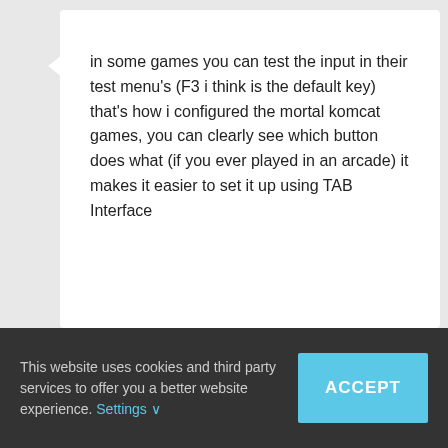in some games you can test the input in their test menu's (F3 i think is the default key) that's how i configured the mortal komcat games, you can clearly see which button does what (if you ever played in an arcade) it makes it easier to set it up using TAB Interface
joyrider3774
Participant
03/08/2016 at 09:04
Post count: 34
#119548
This website uses cookies and third party services to offer you a better website experience. Settings